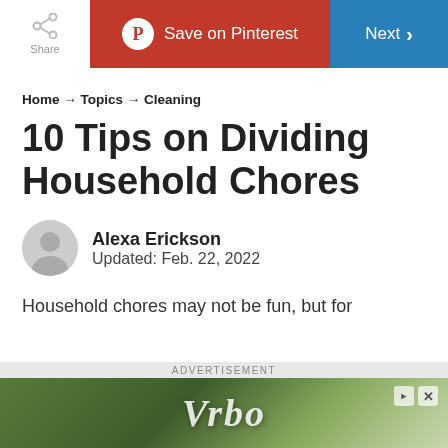Share | Save on Pinterest | Next
Home → Topics → Cleaning
10 Tips on Dividing Household Chores
Alexa Erickson
Updated: Feb. 22, 2022
Household chores may not be fun, but for
[Figure (other): Vrbo advertisement banner with green foliage background]
ADVERTISEMENT